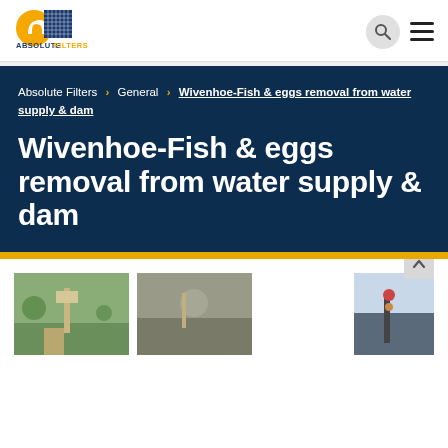Absolute Filters logo, search icon, menu icon
Absolute Filters › General › Wivenhoe-Fish & eggs removal from water supply & dam
Wivenhoe-Fish & eggs removal from water supply & dam
[Figure (photo): Three thumbnail photos partially visible at bottom: outdoor infrastructure/tower scene, middle thumbnail, and a crane/equipment outdoor scene]
[Figure (logo): Absolute Filters logo with orange circle and blue grid pattern, text ABSOLUTE FILTERS below]